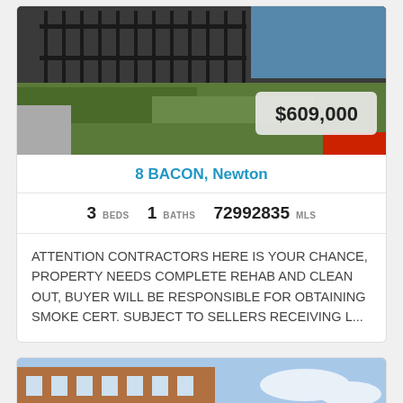[Figure (photo): Exterior photo of property at 8 Bacon, Newton — overgrown grass lot, metal fence, brick structure visible]
$609,000
8 BACON, Newton
3 BEDS   1 BATHS   72992835 MLS
ATTENTION CONTRACTORS HERE IS YOUR CHANCE, PROPERTY NEEDS COMPLETE REHAB AND CLEAN OUT, BUYER WILL BE RESPONSIBLE FOR OBTAINING SMOKE CERT. SUBJECT TO SELLERS RECEIVING L...
[Figure (photo): Exterior photo of a multi-story brick apartment building against a blue sky]